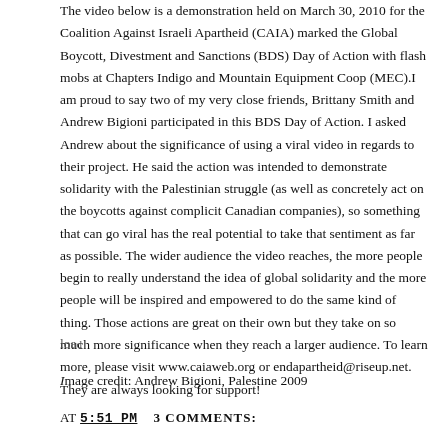The video below is a demonstration held on March 30, 2010 for the Coalition Against Israeli Apartheid (CAIA) marked the Global Boycott, Divestment and Sanctions (BDS) Day of Action with flash mobs at Chapters Indigo and Mountain Equipment Coop (MEC).I am proud to say two of my very close friends, Brittany Smith and Andrew Bigioni participated in this BDS Day of Action. I asked Andrew about the significance of using a viral video in regards to their project. He said the action was intended to demonstrate solidarity with the Palestinian struggle (as well as concretely act on the boycotts against complicit Canadian companies), so something that can go viral has the real potential to take that sentiment as far as possible. The wider audience the video reaches, the more people begin to really understand the idea of global solidarity and the more people will be inspired and empowered to do the same kind of thing. Those actions are great on their own but they take on so much more significance when they reach a larger audience. To learn more, please visit www.caiaweb.org or endapartheid@riseup.net. They are always looking for support!
loar
Image credit: Andrew Bigioni, Palestine 2009
AT 5:51 PM   3 COMMENTS: